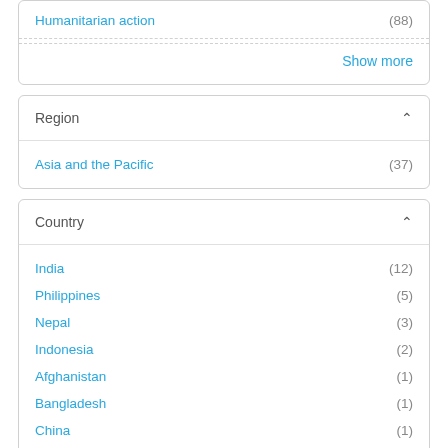Humanitarian action (88)
Show more
Region
Asia and the Pacific (37)
Country
India (12)
Philippines (5)
Nepal (3)
Indonesia (2)
Afghanistan (1)
Bangladesh (1)
China (1)
Malaysia (1)